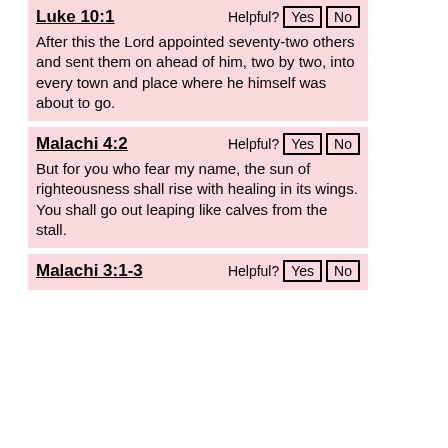Luke 10:1
After this the Lord appointed seventy-two others and sent them on ahead of him, two by two, into every town and place where he himself was about to go.
Malachi 4:2
But for you who fear my name, the sun of righteousness shall rise with healing in its wings. You shall go out leaping like calves from the stall.
Malachi 3:1-3